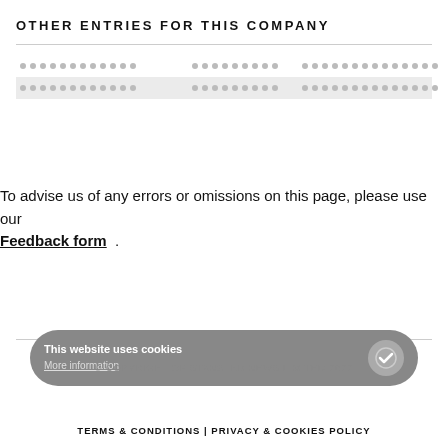OTHER ENTRIES FOR THIS COMPANY
| • • • • • • • • • • • • | • • • • • • • • • | • • • • • • • • • • • • • • |
| • • • • • • • • • • • • | • • • • • • • • • | • • • • • • • • • • • • • • |
To advise us of any errors or omissions on this page, please use our Feedback form .
This website uses cookies
More information
© COPYRIGHT OF STANSTED NEWS LIMITED 2022
TERMS & CONDITIONS | PRIVACY & COOKIES POLICY